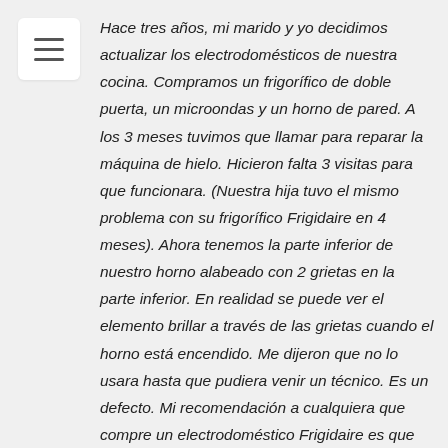[Figure (other): Hamburger menu icon (three horizontal lines) in a white rounded rectangle]
Hace tres años, mi marido y yo decidimos actualizar los electrodomésticos de nuestra cocina. Compramos un frigorífico de doble puerta, un microondas y un horno de pared. A los 3 meses tuvimos que llamar para reparar la máquina de hielo. Hicieron falta 3 visitas para que funcionara. (Nuestra hija tuvo el mismo problema con su frigorífico Frigidaire en 4 meses). Ahora tenemos la parte inferior de nuestro horno alabeado con 2 grietas en la parte inferior. En realidad se puede ver el elemento brillar a través de las grietas cuando el horno está encendido. Me dijeron que no lo usara hasta que pudiera venir un técnico. Es un defecto. Mi recomendación a cualquiera que compre un electrodoméstico Frigidaire es que obtenga la garantía extendida. Si construyeran un producto de calidad, no se necesitaría la garantía ampliada. Deben tener un